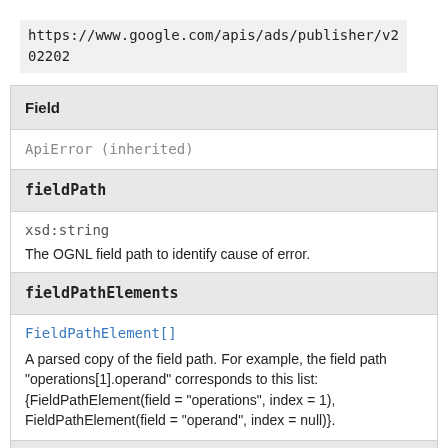https://www.google.com/apis/ads/publisher/v202202
| Field |
| --- |
| ApiError (inherited) |
| fieldPath |
| xsd:string | The OGNL field path to identify cause of error. |
| fieldPathElements |
| FieldPathElement[] | A parsed copy of the field path. For example, the field path "operations[1].operand" corresponds to this list: {FieldPathElement(field = "operations", index = 1), FieldPathElement(field = "operand", index = null)}. |
| trigger |